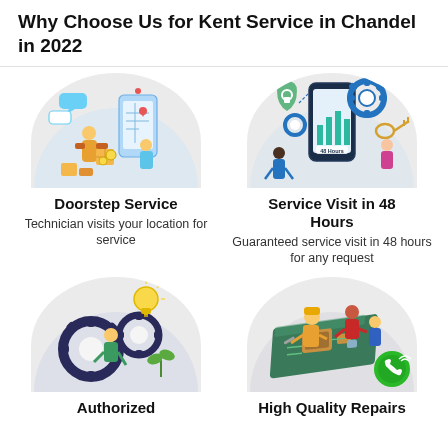Why Choose Us for Kent Service in Chandel in 2022
[Figure (illustration): Illustration showing doorstep delivery/service with person handing package and mobile map]
Doorstep Service
Technician visits your location for service
[Figure (illustration): Illustration showing service visit in 48 hours with a smartphone, gears, shield and technicians]
Service Visit in 48 Hours
Guaranteed service visit in 48 hours for any request
[Figure (illustration): Illustration showing authorized service with gears and lightbulb and worker]
Authorized
[Figure (illustration): Illustration showing high quality repairs with technicians working on a circuit board device]
High Quality Repairs